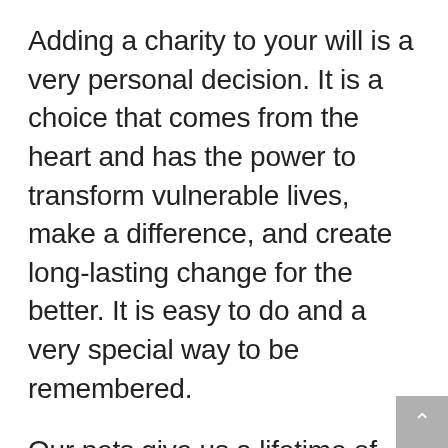Adding a charity to your will is a very personal decision. It is a choice that comes from the heart and has the power to transform vulnerable lives, make a difference, and create long-lasting change for the better. It is easy to do and a very special way to be remembered.
Our pets give us a lifetime of love. Leaving a gift in your will is the purfect way to pay tribute to them. Helping those who are less fortunate than us, whether it's people or animals, is a sign of kindness and